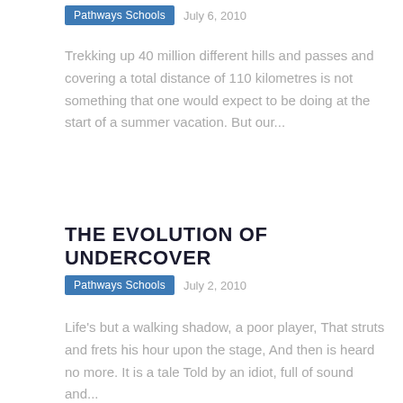Pathways Schools   July 6, 2010
Trekking up 40 million different hills and passes and covering a total distance of 110 kilometres is not something that one would expect to be doing at the start of a summer vacation. But our...
THE EVOLUTION OF UNDERCOVER
Pathways Schools   July 2, 2010
Life's but a walking shadow, a poor player, That struts and frets his hour upon the stage, And then is heard no more. It is a tale Told by an idiot, full of sound and...